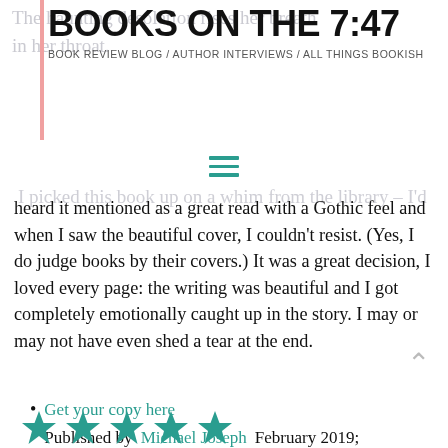BOOKS ON THE 7:47
BOOK REVIEW BLOG / AUTHOR INTERVIEWS / ALL THINGS BOOKISH
I picked this book up on a whim from the library – I'd heard it mentioned as a great read with a Gothic feel and when I saw the beautiful cover, I couldn't resist. (Yes, I do judge books by their covers.) It was a great decision, I loved every page: the writing was beautiful and I got completely emotionally caught up in the story. I may or may not have even shed a tear at the end.
Get your copy here
Published by Michael Joseph February 2019;
400 pages
My rating: